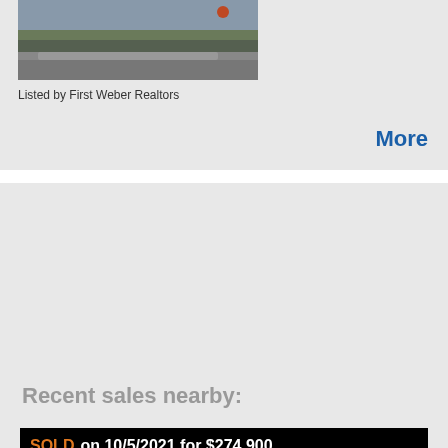[Figure (photo): Street view photo showing a driveway and road with a small figure in the distance, green lawn visible]
Listed by First Weber Realtors
More
Recent sales nearby:
SOLD on 10/5/2021 for $274,900
[Figure (photo): Photo of a single family residential home with white siding, two-car garage, and green landscaping]
3729 Lien Rd
Single Family Residential
3 bedrooms, 3 baths